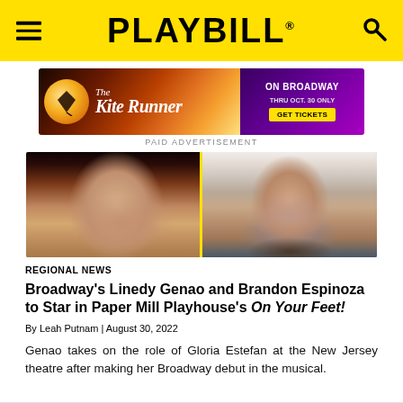PLAYBILL
[Figure (other): Advertisement for The Kite Runner on Broadway, thru Oct. 30 only, with Get Tickets button]
PAID ADVERTISEMENT
[Figure (photo): Side-by-side headshots of Linedy Genao (left, woman with dark hair) and Brandon Espinoza (right, man with beard), divided by a yellow vertical line]
REGIONAL NEWS
Broadway's Linedy Genao and Brandon Espinoza to Star in Paper Mill Playhouse's On Your Feet!
By Leah Putnam | August 30, 2022
Genao takes on the role of Gloria Estefan at the New Jersey theatre after making her Broadway debut in the musical.